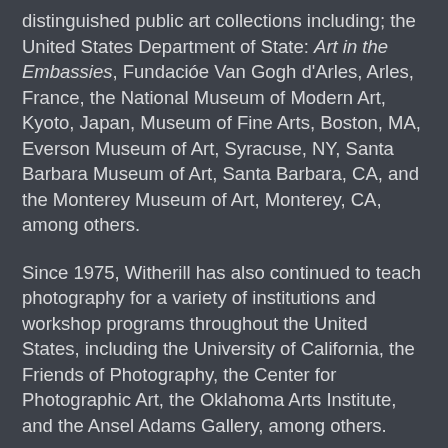distinguished public art collections including; the United States Department of State: Art in the Embassies, Fundacióe Van Gogh d'Arles, Arles, France, the National Museum of Modern Art, Kyoto, Japan, Museum of Fine Arts, Boston, MA, Everson Museum of Art, Syracuse, NY, Santa Barbara Museum of Art, Santa Barbara, CA, and the Monterey Museum of Art, Monterey, CA, among others.
Since 1975, Witherill has also continued to teach photography for a variety of institutions and workshop programs throughout the United States, including the University of California, the Friends of Photography, the Center for Photographic Art, the Oklahoma Arts Institute, and the Ansel Adams Gallery, among others.
Huntingtons Website: